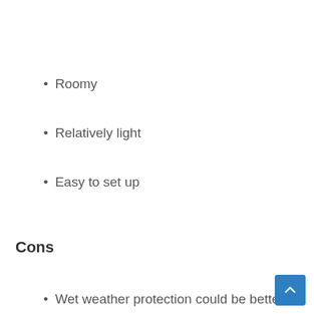Roomy
Relatively light
Easy to set up
Cons
Wet weather protection could be better